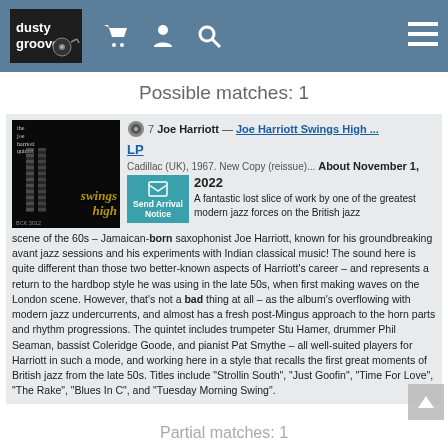dusty groove
Possible matches: 1
[Figure (photo): Album cover for Joe Harriott Quintet Swings High, dark background with chain imagery and yellow stylized text]
7 Joe Harriott — Joe Harriott Swings High ... LP
Cadillac (UK), 1967. New Copy (reissue)... About November 1, 2022
A fantastic lost slice of work by one of the greatest modern jazz forces on the British jazz scene of the 60s – Jamaican-born saxophonist Joe Harriott, known for his groundbreaking avant jazz sessions and his experiments with Indian classical music! The sound here is quite different than those two better-known aspects of Harriott's career – and represents a return to the hardbop style he was using in the late 50s, when first making waves on the London scene. However, that's not a bad thing at all – as the album's overflowing with modern jazz undercurrents, and almost has a fresh post-Mingus approach to the horn parts and rhythm progressions. The quintet includes trumpeter Stu Hamer, drummer Phil Seaman, bassist Coleridge Goode, and pianist Pat Smythe – all well-suited players for Harriott in such a mode, and working here in a style that recalls the first great moments of British jazz from the late 50s. Titles include "Strollin South", "Just Goofin", "Time For Love", "The Rake", "Blues In C", and "Tuesday Morning Swing".
Partial matches: 1